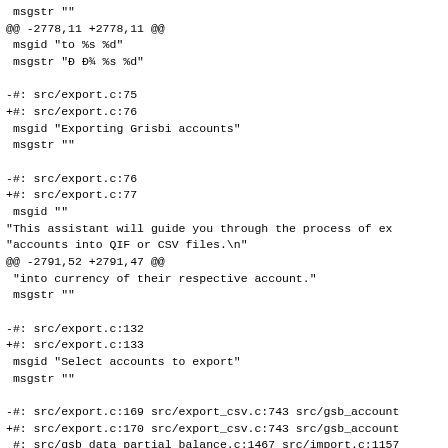msgstr ""
@@ -2778,11 +2778,11 @@
 msgid "to %s %d"
 msgstr "Đ Đ¾ %s %d"

-#: src/export.c:75
+#: src/export.c:76
 msgid "Exporting Grisbi accounts"
 msgstr ""

-#: src/export.c:76
+#: src/export.c:77
 msgid ""
"This assistant will guide you through the process of ex
"accounts into QIF or CSV files.\n"
@@ -2791,52 +2791,47 @@
 "into currency of their respective account."
 msgstr ""

-#: src/export.c:132
+#: src/export.c:133
 msgid "Select accounts to export"
 msgstr ""

-#: src/export.c:169 src/export_csv.c:743 src/gsb_account
+#: src/export.c:170 src/export_csv.c:743 src/gsb_account
 #: src/gsb_data_partial_balance.c:1467 src/import.c:1157
 msgid "Account name"
 msgstr "ĐŇ Đ°Đ·Đ²Đ°Đ½Đ¸Đµ Ñ†Ñ€Ñ'Ñ‚Đ°"